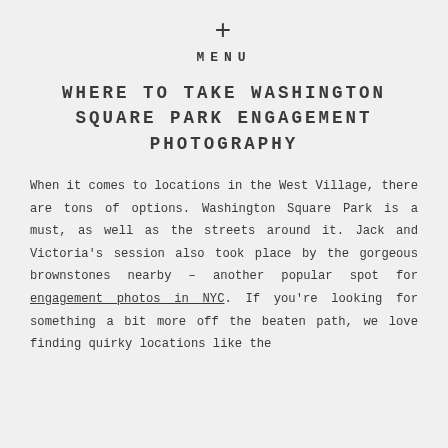+ MENU
WHERE TO TAKE WASHINGTON SQUARE PARK ENGAGEMENT PHOTOGRAPHY
When it comes to locations in the West Village, there are tons of options. Washington Square Park is a must, as well as the streets around it. Jack and Victoria's session also took place by the gorgeous brownstones nearby – another popular spot for engagement photos in NYC. If you're looking for something a bit more off the beaten path, we love finding quirky locations like the